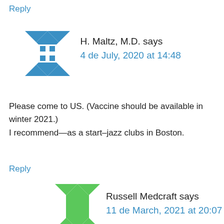Reply
H. Maltz, M.D. says
4 de July, 2020 at 14:48
Please come to US. (Vaccine should be available in winter 2021.)
I recommend—as a start–jazz clubs in Boston.
Reply
[Figure (illustration): Green geometric avatar icon with quilt-like pattern and green square center]
Russell Medcraft says
11 de March, 2021 at 20:07